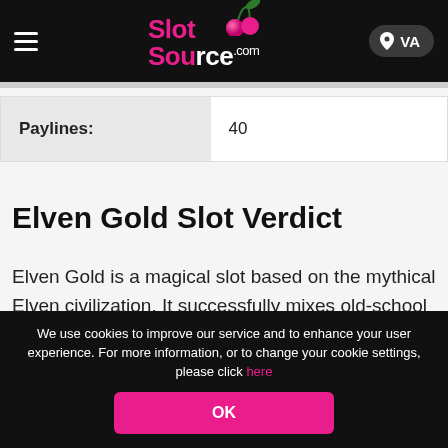[Figure (logo): SlotSource.com logo with cherry graphic on black header bar, hamburger menu on left, VA location badge on right]
| Paylines: |  |
| --- | --- |
| Paylines: | 40 |
Elven Gold Slot Verdict
Elven Gold is a magical slot based on the mythical Elven civilization. It successfully mixes old-school gameplay with modern elements and has a whimsical look and feel that make it a great choice for fantasy fans.
With a jackpot of over £5,000...
We use cookies to improve our service and to enhance your user experience. For more information, or to change your cookie settings, please click here